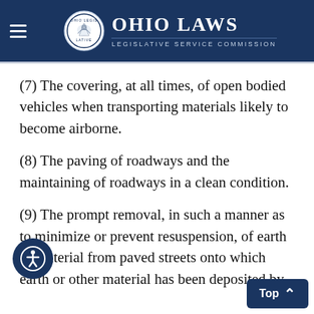Ohio Laws Legislative Service Commission
(7) The covering, at all times, of open bodied vehicles when transporting materials likely to become airborne.
(8) The paving of roadways and the maintaining of roadways in a clean condition.
(9) The prompt removal, in such a manner as to minimize or prevent resuspension, of earth or material from paved streets onto which earth or other material has been deposited by